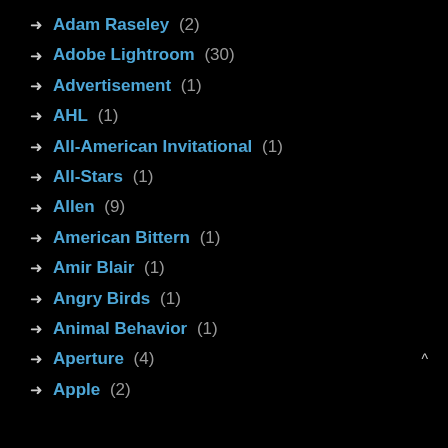Adam Raseley (2)
Adobe Lightroom (30)
Advertisement (1)
AHL (1)
All-American Invitational (1)
All-Stars (1)
Allen (9)
American Bittern (1)
Amir Blair (1)
Angry Birds (1)
Animal Behavior (1)
Aperture (4)
Apple (2)